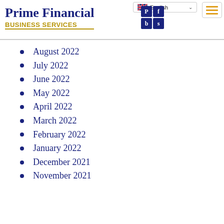[Figure (logo): Prime Financial Business Services logo with blue text, gold underline, and PFBS icon grid]
August 2022
July 2022
June 2022
May 2022
April 2022
March 2022
February 2022
January 2022
December 2021
November 2021